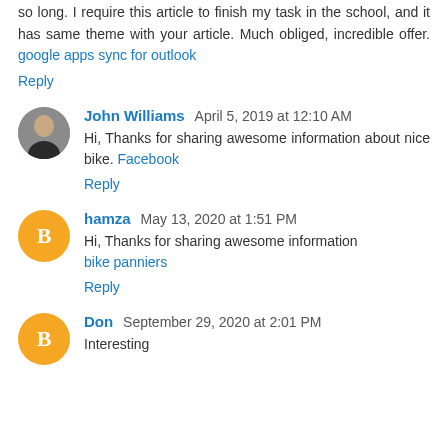so long. I require this article to finish my task in the school, and it has same theme with your article. Much obliged, incredible offer. google apps sync for outlook
Reply
John Williams April 5, 2019 at 12:10 AM
Hi, Thanks for sharing awesome information about nice bike. Facebook
Reply
hamza May 13, 2020 at 1:51 PM
Hi, Thanks for sharing awesome information bike panniers
Reply
Don September 29, 2020 at 2:01 PM
Interesting